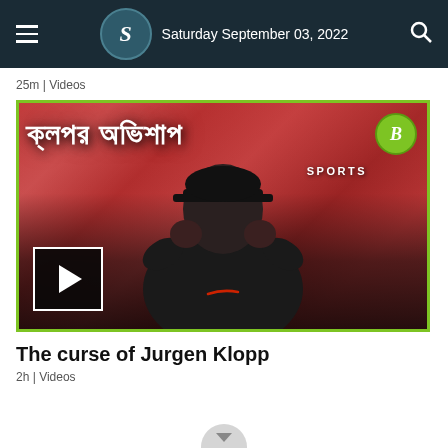Saturday September 03, 2022
25m | Videos
[Figure (photo): Video thumbnail showing a man in a black Liverpool FC jacket and cap with hands raised to his ears, against a red crowd background, with Bengali text overlay reading the curse of Jurgen Klopp and a play button in the lower left]
The curse of Jurgen Klopp
2h | Videos